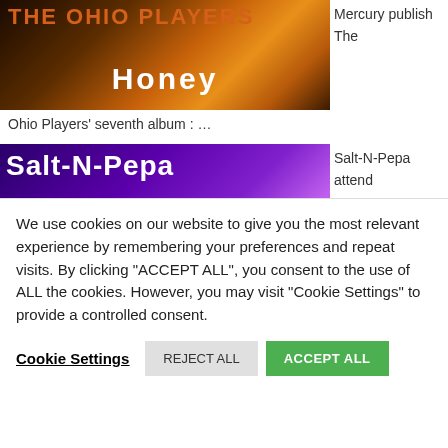[Figure (screenshot): Cropped screenshot of The Ohio Players album cover with text 'Honey' in white on a dark brown/orange background]
Mercury publish The Ohio Players' seventh album : ...
[Figure (screenshot): Screenshot showing Salt-N-Pepa with purple/violet background and text '44 Minutes']
Salt-N-Pepa attend "Woodstock 94" Day 2 (1994)
[Figure (screenshot): Screenshot showing Sly and the Family Stone with dark blue background and text '5 Minutes']
Sly and the Family Stone
We use cookies on our website to give you the most relevant experience by remembering your preferences and repeat visits. By clicking "ACCEPT ALL", you consent to the use of ALL the cookies. However, you may visit "Cookie Settings" to provide a controlled consent.
Cookie Settings   REJECT ALL   ACCEPT ALL